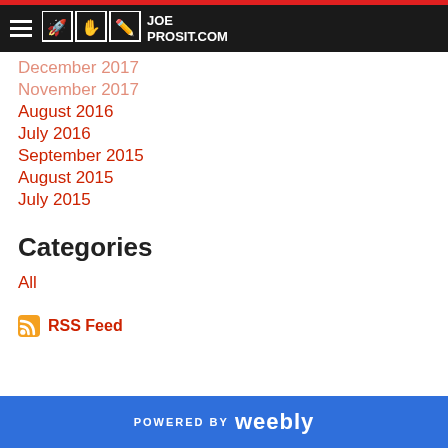JoeProsit.com navigation bar with hamburger menu and logo
December 2017
November 2017
August 2016
July 2016
September 2015
August 2015
July 2015
Categories
All
RSS Feed
POWERED BY weebly